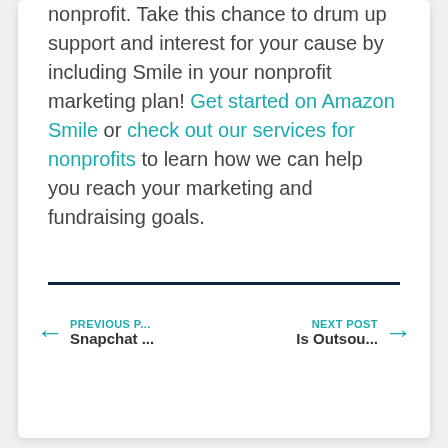nonprofit. Take this chance to drum up support and interest for your cause by including Smile in your nonprofit marketing plan! Get started on Amazon Smile or check out our services for nonprofits to learn how we can help you reach your marketing and fundraising goals.
← PREVIOUS P... Snapchat ...    NEXT POST → Is Outsou...